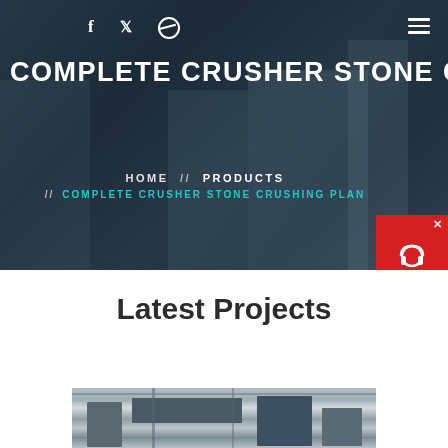COMPLETE CRUSHER STONE CR
[Figure (screenshot): Website screenshot showing a construction site hero banner with dark overlay, social media icons (Facebook, Twitter, Dribbble), hamburger menu, site title 'COMPLETE CRUSHER STONE CR', breadcrumb navigation (HOME // PRODUCTS // COMPLETE CRUSHER STONE CRUSHING PLAN), and a live chat widget (red/dark with headset icon and 'Chat Now' text)]
Latest Projects
[Figure (photo): Industrial stone crushing machinery photographed indoors, showing heavy equipment with metal structures, conveyor or crusher components in an industrial facility]